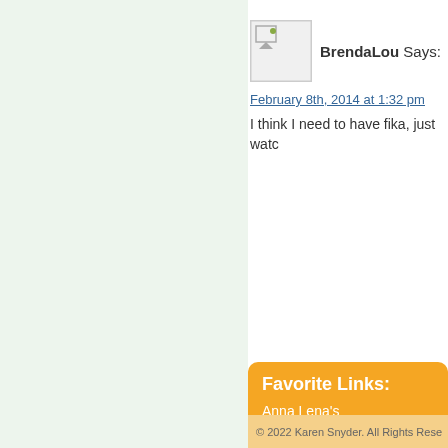[Figure (photo): Small avatar/placeholder image icon]
BrendaLou Says:
February 8th, 2014 at 1:32 pm
I think I need to have fika, just watc
Favorite Links:
Anna Lena's
BrendaLou
Doxie
Life with Poppy
My Quilt Village
Quilt Gallery Shops
Simply This That and the Other
The Happy Zombie
© 2022 Karen Snyder. All Rights Rese